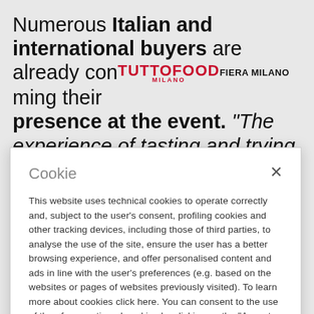Numerous Italian and international buyers are already confirming their presence at the event. "The experience of tasting and trying products, and meeting suppliers in person, is vital
Cookie
This website uses technical cookies to operate correctly and, subject to the user's consent, profiling cookies and other tracking devices, including those of third parties, to analyse the use of the site, ensure the user has a better browsing experience, and offer personalised content and ads in line with the user's preferences (e.g. based on the websites or pages of websites previously visited). To learn more about cookies click here. You can consent to the use of the aforementioned cookies by clicking on the "Accept all cookies" button, otherwise you can select the "Reject all cookies" button or manage your preferences in detail by selecting the "Customize your choices" button. Cookie policy